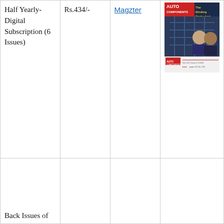| Plan | Price | Platform | Cover |
| --- | --- | --- | --- |
| Half Yearly- Digital Subscription (6 Issues) | Rs.434/- | Magzter | [magazine cover image] |
| Back Issues of |  |  |  |